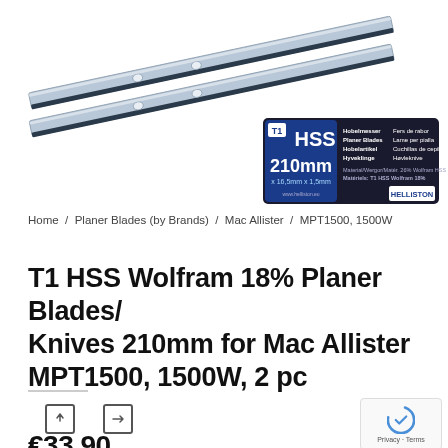[Figure (photo): Two long thin metallic planer blades/knives shown diagonally on white background, with a Helliston HSS T1 210mm product label badge in bottom-right of the image area]
Home / Planer Blades (by Brands) / Mac Allister / MPT1500, 1500W
T1 HSS Wolfram 18% Planer Blades/ Knives 210mm for Mac Allister MPT1500, 1500W, 2 pc
€33.90 inclVAT